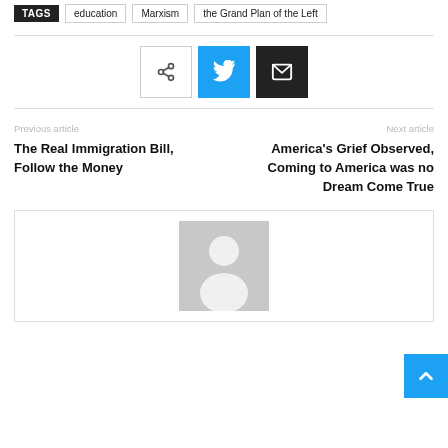TAGS  education  Marxism  the Grand Plan of the Left
[Figure (infographic): Social sharing buttons: share icon (white border), Twitter bird icon (cyan background), email icon (black background)]
Previous article
The Real Immigration Bill, Follow the Money
Next article
America's Grief Observed, Coming to America was no Dream Come True
[Figure (photo): Generic author avatar placeholder: grey rectangle with white silhouette of a person]